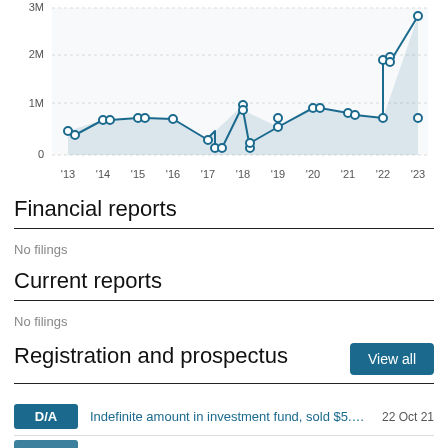[Figure (continuous-plot): Line chart with scatter points showing values from 2013 to 2023. Y-axis: 0, 1M, 2M, 3M. The line trends upward from ~700K in 2013, with notable volatility in 2017-2018 (dipping to ~300K then back to ~1.5M), rising sharply in 2021-2022 to over 2M and peaking near 3M in 2023.]
Financial reports
No filings
Current reports
No filings
Registration and prospectus
D/A  Indefinite amount in investment fund, sold $5.15M,...  22 Oct 21